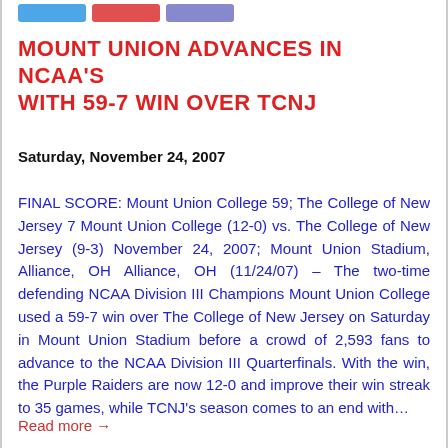MOUNT UNION ADVANCES IN NCAA'S WITH 59-7 WIN OVER TCNJ
Saturday, November 24, 2007
FINAL SCORE: Mount Union College 59; The College of New Jersey 7 Mount Union College (12-0) vs. The College of New Jersey (9-3) November 24, 2007; Mount Union Stadium, Alliance, OH Alliance, OH (11/24/07) – The two-time defending NCAA Division III Champions Mount Union College used a 59-7 win over The College of New Jersey on Saturday in Mount Union Stadium before a crowd of 2,593 fans to advance to the NCAA Division III Quarterfinals. With the win, the Purple Raiders are now 12-0 and improve their win streak to 35 games, while TCNJ's season comes to an end with…
Read more →